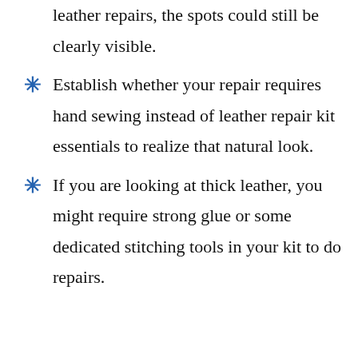leather repairs, the spots could still be clearly visible.
Establish whether your repair requires hand sewing instead of leather repair kit essentials to realize that natural look.
If you are looking at thick leather, you might require strong glue or some dedicated stitching tools in your kit to do repairs.